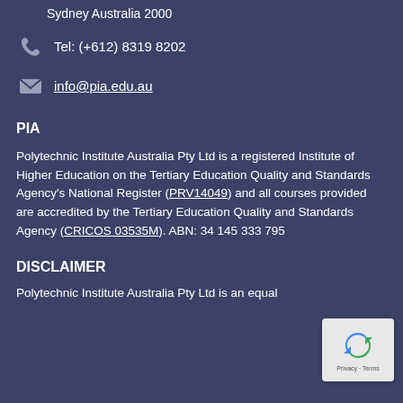Sydney Australia 2000
Tel: (+612) 8319 8202
info@pia.edu.au
PIA
Polytechnic Institute Australia Pty Ltd is a registered Institute of Higher Education on the Tertiary Education Quality and Standards Agency's National Register (PRV14049) and all courses provided are accredited by the Tertiary Education Quality and Standards Agency (CRICOS 03535M). ABN: 34 145 333 795
DISCLAIMER
Polytechnic Institute Australia Pty Ltd is an equal